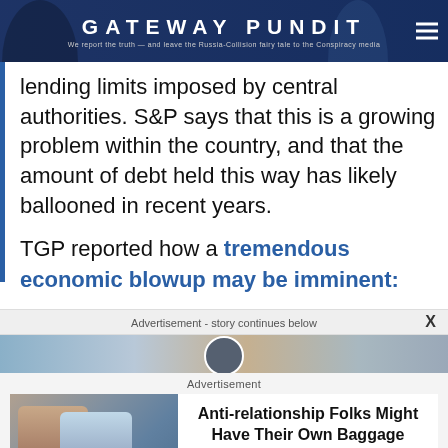GATEWAY PUNDIT — We report the truth — and leave the Russia-Collusion fairy tale to the Conspiracy media
lending limits imposed by central authorities. S&P says that this is a growing problem within the country, and that the amount of debt held this way has likely ballooned in recent years.
TGP reported how a tremendous economic blowup may be imminent:
Advertisement - story continues below
Advertisement
Anti-relationship Folks Might Have Their Own Baggage
Herbeauty